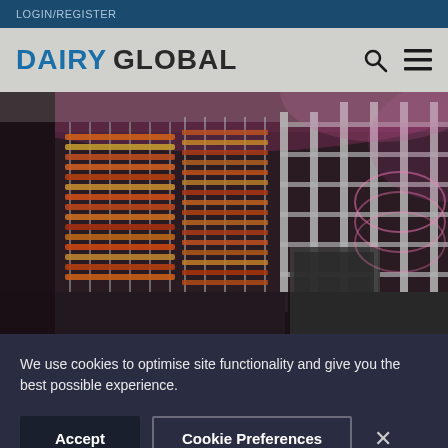LOGIN/REGISTER
DAIRY GLOBAL
[Figure (photo): Industrial dairy processing facility showing large illuminated cylindrical cheese aging/ripening towers with colorful lighting in pink and orange tones, with industrial equipment and scaffolding visible]
We use cookies to optimise site functionality and give you the best possible experience.
Accept
Cookie Preferences